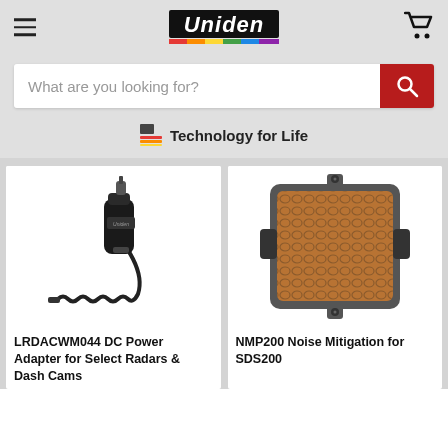Uniden
What are you looking for?
Technology for Life
[Figure (photo): LRDACWM044 DC Power Adapter car charger with coiled cable]
LRDACWM044 DC Power Adapter for Select Radars & Dash Cams
[Figure (photo): NMP200 Noise Mitigation device for SDS200, copper mesh pad with clips]
NMP200 Noise Mitigation for SDS200